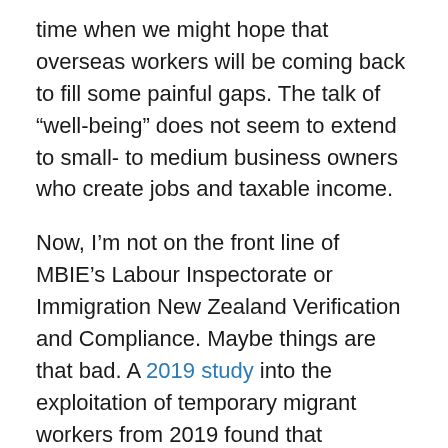time when we might hope that overseas workers will be coming back to fill some painful gaps. The talk of “well-being” does not seem to extend to small- to medium business owners who create jobs and taxable income.
Now, I’m not on the front line of MBIE’s Labour Inspectorate or Immigration New Zealand Verification and Compliance. Maybe things are that bad. A 2019 study into the exploitation of temporary migrant workers from 2019 found that deception and coercion of those on Work Visas is more widespread than many from the business sector believed. Parliament’s Education & Workforce Committee commissioned an enquiry into migrant exploitation last October, although it doesn’t appear that its conclusions have been published yet. Still, some of what is being done about this doesn’t quite sit right.